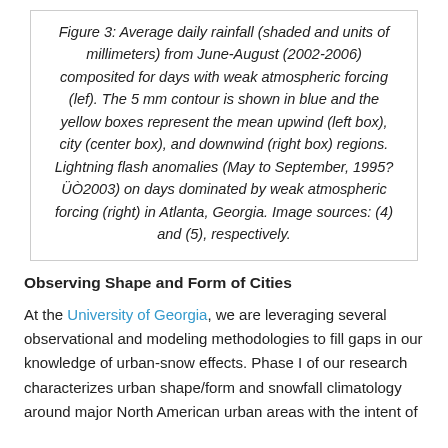Figure 3: Average daily rainfall (shaded and units of millimeters) from June-August (2002-2006) composited for days with weak atmospheric forcing (lef). The 5 mm contour is shown in blue and the yellow boxes represent the mean upwind (left box), city (center box), and downwind (right box) regions. Lightning flash anomalies (May to September, 1995–2003) on days dominated by weak atmospheric forcing (right) in Atlanta, Georgia. Image sources: (4) and (5), respectively.
Observing Shape and Form of Cities
At the University of Georgia, we are leveraging several observational and modeling methodologies to fill gaps in our knowledge of urban-snow effects. Phase I of our research characterizes urban shape/form and snowfall climatology around major North American urban areas with the intent of